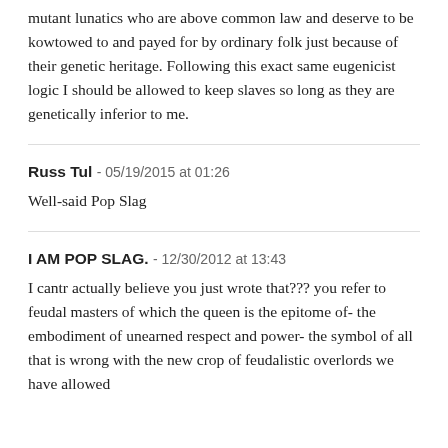mutant lunatics who are above common law and deserve to be kowtowed to and payed for by ordinary folk just because of their genetic heritage. Following this exact same eugenicist logic I should be allowed to keep slaves so long as they are genetically inferior to me.
Russ Tul - 05/19/2015 at 01:26
Well-said Pop Slag
I AM POP SLAG. - 12/30/2012 at 13:43
I cantr actually believe you just wrote that??? you refer to feudal masters of which the queen is the epitome of- the embodiment of unearned respect and power- the symbol of all that is wrong with the new crop of feudalistic overlords we have allowed